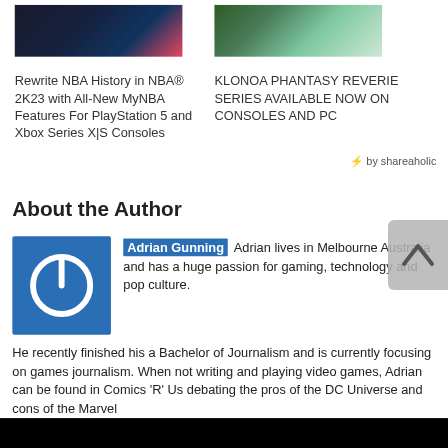[Figure (screenshot): Thumbnail image for NBA 2K23 article showing game scenes]
Rewrite NBA History in NBA® 2K23 with All-New MyNBA Features For PlayStation 5 and Xbox Series X|S Consoles
[Figure (screenshot): Thumbnail image for Klonoa Phantasy Reverie Series article showing animated characters]
KLONOA PHANTASY REVERIE SERIES AVAILABLE NOW ON CONSOLES AND PC
⚡ by shareaholic
About the Author
[Figure (logo): Blue square avatar with white power button icon representing Adrian Gunning]
Adrian Gunning Adrian lives in Melbourne Australia and has a huge passion for gaming, technology and pop culture. He recently finished his a Bachelor of Journalism and is currently focusing on games journalism. When not writing and playing video games, Adrian can be found in Comics 'R' Us debating the pros of the DC Universe and cons of the Marvel